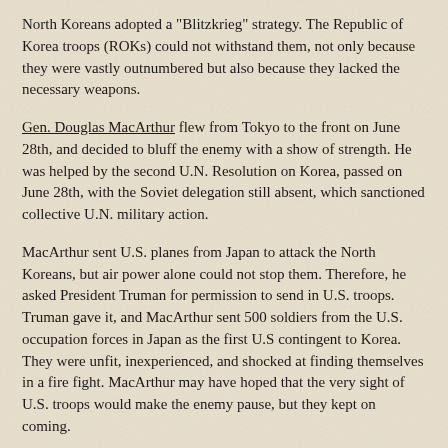North Koreans adopted a "Blitzkrieg" strategy. The Republic of Korea troops (ROKs) could not withstand them, not only because they were vastly outnumbered but also because they lacked the necessary weapons.
Gen. Douglas MacArthur flew from Tokyo to the front on June 28th, and decided to bluff the enemy with a show of strength. He was helped by the second U.N. Resolution on Korea, passed on June 28th, with the Soviet delegation still absent, which sanctioned collective U.N. military action.
MacArthur sent U.S. planes from Japan to attack the North Koreans, but air power alone could not stop them. Therefore, he asked President Truman for permission to send in U.S. troops. Truman gave it, and MacArthur sent 500 soldiers from the U.S. occupation forces in Japan as the first U.S contingent to Korea. They were unfit, inexperienced, and shocked at finding themselves in a fire fight. MacArthur may have hoped that the very sight of U.S. troops would make the enemy pause, but they kept on coming.
Soon, four divisions of U.S. troops came over from Japan. In early July, they had a joint Command of Seoul. However, they could not...